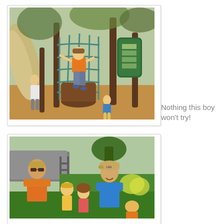[Figure (photo): Children playing on a large outdoor playground structure with rope climbing wall, slides, and wooden poles. A boy in an orange shirt is climbing the rope net.]
Nothing this boy won't try!
[Figure (photo): Group of adults and children posing outdoors near a park area. A man with sunglasses in an orange shirt, children, and a man in a blue shirt wearing an LSU cap.]